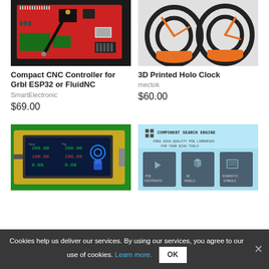[Figure (photo): Red CNC controller PCB with antenna and connectors]
Compact CNC Controller for Grbl ESP32 or FluidNC
SmartElectronic
$69.00
[Figure (photo): 3D printed holo clock with orange plastic frame and black rings]
3D Printed Holo Clock
mectok
$60.00
[Figure (photo): LCD touchscreen display showing CNC control interface on green background]
[Figure (screenshot): Component Search Engine advertisement - Free High Quality PCB Libraries for Your ECAD Tools with PCB Footprints, 3D Models, Schematic Symbols]
Cookies help us deliver our services. By using our services, you agree to our use of cookies. Learn more.